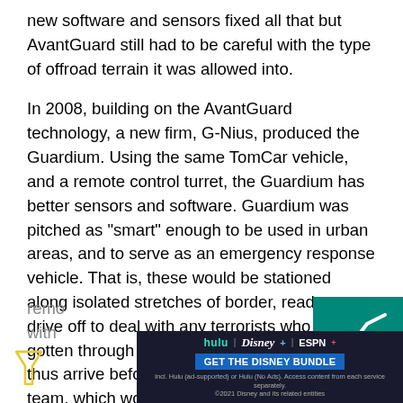new software and sensors fixed all that but AvantGuard still had to be careful with the type of offroad terrain it was allowed into.
In 2008, building on the AvantGuard technology, a new firm, G-Nius, produced the Guardium. Using the same TomCar vehicle, and a remote control turret, the Guardium has better sensors and software. Guardium was pitched as "smart" enough to be used in urban areas, and to serve as an emergency response vehicle. That is, these would be stationed along isolated stretches of border, ready to drive off to deal with any terrorists who had gotten through the fence. The Guardium would thus arrive before a human quick reaction team, which would be stationed farther away. Guardium was seen as preferable to an earlier proposal; placing
remo...
with...
[Figure (other): Teal/green box with a white line chart icon in the upper right corner of the page, partially overlapping the article text.]
[Figure (other): Disney Bundle advertisement banner at the bottom of the page showing Hulu, Disney+, ESPN+ logos and a 'GET THE DISNEY BUNDLE' call to action button with fine print about subscription terms.]